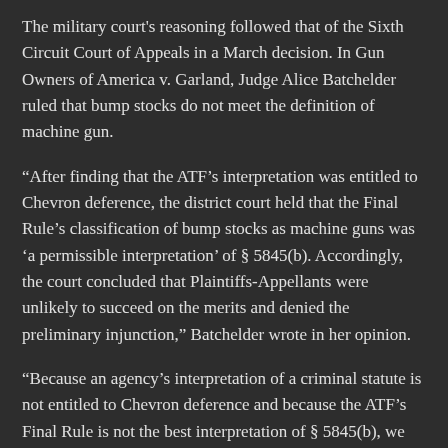The military court's reasoning followed that of the Sixth Circuit Court of Appeals in a March decision. In Gun Owners of America v. Garland, Judge Alice Batchelder ruled that bump stocks do not meet the definition of machine gun.
“After finding that the ATF’s interpretation was entitled to Chevron deference, the district court held that the Final Rule’s classification of bump stocks as machine guns was ‘a permissible interpretation’ of § 5845(b). Accordingly, the court concluded that Plaintiffs-Appellants were unlikely to succeed on the merits and denied the preliminary injunction,” Batchelder wrote in her opinion.
“Because an agency’s interpretation of a criminal statute is not entitled to Chevron deference and because the ATF’s Final Rule is not the best interpretation of § 5845(b), we REVERSE the district court’s judgment and REMAND for proceedings consistent with this opinion.”